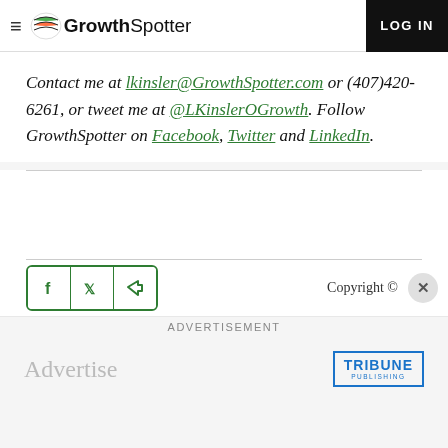GrowthSpotter — LOG IN
Contact me at lkinsler@GrowthSpotter.com or (407)420-6261, or tweet me at @LKinslerOGrowth. Follow GrowthSpotter on Facebook, Twitter and LinkedIn.
Copyright ©
[Figure (screenshot): Social share icon buttons (Facebook, Twitter, share arrow) with green border]
ADVERTISEMENT
[Figure (logo): Tribune Publishing logo with Advertise text — advertisement banner]